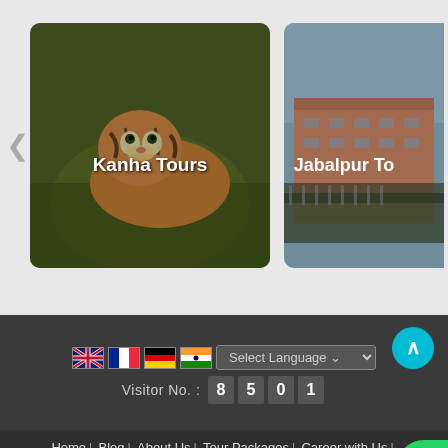[Figure (screenshot): Kanha Tours card with tiger image]
[Figure (screenshot): Jabalpur Tours card with building/city image]
Visitor No.: 8501
Select Language
Home | Blog | About Us | Tour Packages | Career with Us | Contact Us | Testimonials | Flipbook | Site Map |
Fill Enquiry Form Below